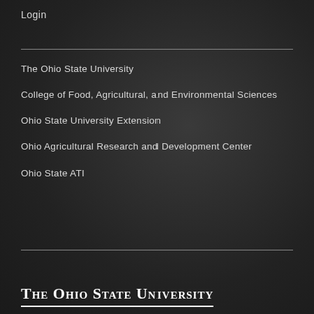Login
The Ohio State University
College of Food, Agricultural, and Environmental Sciences
Ohio State University Extension
Ohio Agricultural Research and Development Center
Ohio State ATI
The Ohio State University